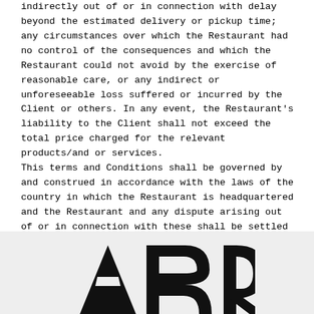indirectly out of or in connection with delay beyond the estimated delivery or pickup time; any circumstances over which the Restaurant had no control of the consequences and which the Restaurant could not avoid by the exercise of reasonable care, or any indirect or unforeseeable loss suffered or incurred by the Client or others. In any event, the Restaurant's liability to the Client shall not exceed the total price charged for the relevant products/and or services. This terms and Conditions shall be governed by and construed in accordance with the laws of the country in which the Restaurant is headquartered and the Restaurant and any dispute arising out of or in connection with these shall be settled by the competent courts from the headquarters of the Restaurant, excluding the possibility of reference to conflict of laws.
[Figure (logo): Large stylized black letters logo partially visible at bottom of page on grey background]